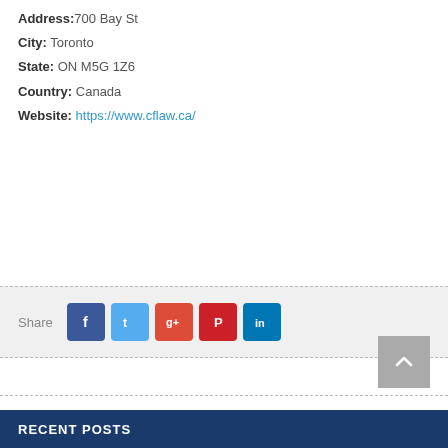Address: 700 Bay St
City: Toronto
State: ON M5G 1Z6
Country: Canada
Website: https://www.cflaw.ca/
Share
RECENT POSTS